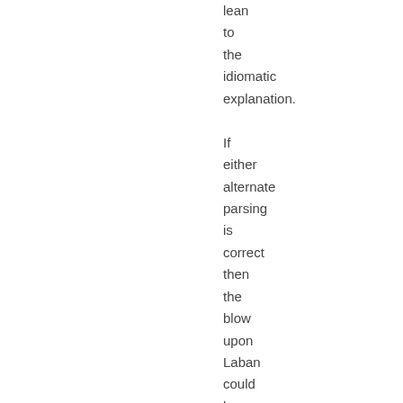lean to the idiomatic explanation. If either alternate parsing is correct then the blow upon Laban could have been an easy-to-make penetrative wound by the